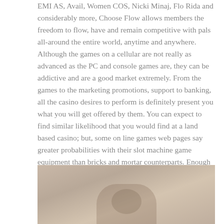EMI AS, Avail, Women COS, Nicki Minaj, Flo Rida and considerably more, Choose Flow allows members the freedom to flow, have and remain competitive with pals all-around the entire world, anytime and anywhere. Although the games on a cellular are not really as advanced as the PC and console games are, they can be addictive and are a good market extremely. From the games to the marketing promotions, support to banking, all the casino desires to perform is definitely present you what you will get offered by them. You can expect to find similar likelihood that you would find at a land based casino; but, some on line games web pages say greater probabilities with their slot machine game equipment than bricks and mortar counterparts. Enough Amazingly, it is possible to play plenty of of your favorite table games with an actual dealer about an actual game table.
[Figure (photo): A faded warm-toned photograph, partially visible at the bottom of the page, appearing to show a person or animal in close-up.]